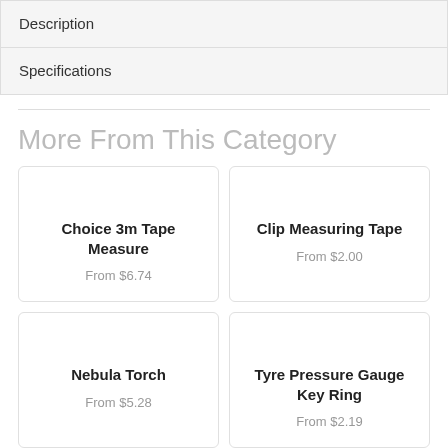Description
Specifications
More From This Category
Choice 3m Tape Measure
From $6.74
Clip Measuring Tape
From $2.00
Nebula Torch
From $5.28
Tyre Pressure Gauge Key Ring
From $2.19